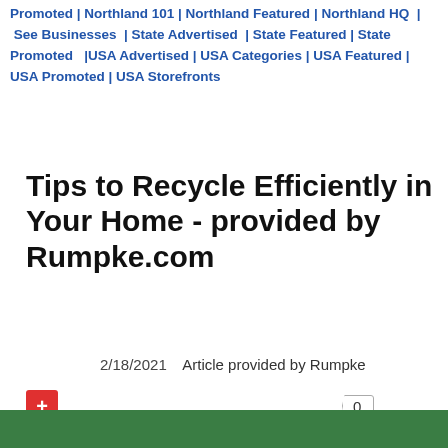Promoted | Northland 101 | Northland Featured | Northland HQ | See Businesses | State Advertised | State Featured | State Promoted | USA Advertised | USA Categories | USA Featured | USA Promoted | USA Storefronts
Tips to Recycle Efficiently in Your Home - provided by Rumpke.com
2/18/2021  Article provided by Rumpke
+ button and 0 counter